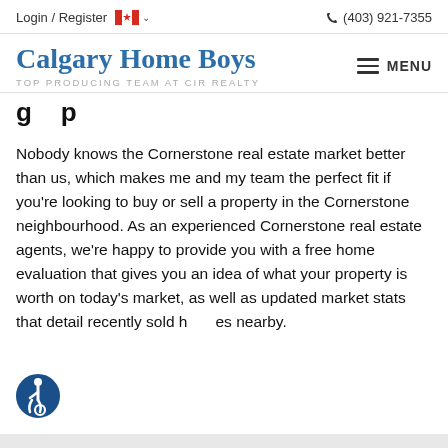Login / Register  (403) 921-7355
Calgary Home Boys
TOP PRODUCING TEAM AT CIR REALTY
Nobody knows the Cornerstone real estate market better than us, which makes me and my team the perfect fit if you're looking to buy or sell a property in the Cornerstone neighbourhood. As an experienced Cornerstone real estate agents, we're happy to provide you with a free home evaluation that gives you an idea of what your property is worth on today's market, as well as updated market stats that detail recently sold homes nearby.
[Figure (illustration): Accessibility icon - circular blue badge with wheelchair user symbol in white]